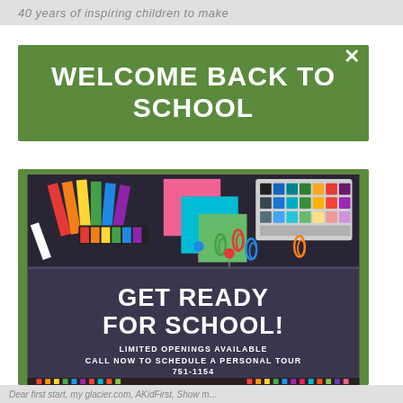40 years of inspiring children to make
WELCOME BACK TO SCHOOL
[Figure (illustration): Back to school promotional image showing colorful school supplies (pencils, chalk, sticky notes, watercolor paints, paper clips, push pins) on a dark chalkboard background with text: GET READY FOR SCHOOL! LIMITED OPENINGS AVAILABLE CALL NOW TO SCHEDULE A PERSONAL TOUR 751-1154]
Dear first start, my glacier.com, AKidFirst, Show m...